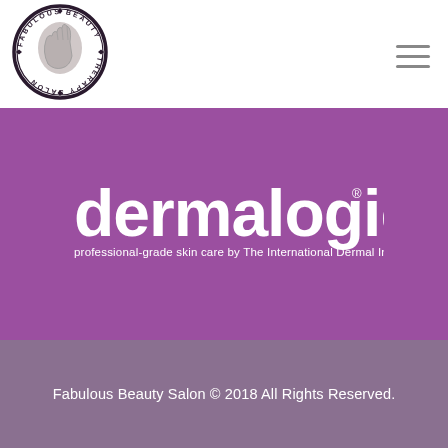[Figure (logo): Fabulous Beauty Therapy Salon circular logo with hand illustration and text around the border]
[Figure (logo): Dermalogica logo in white on purple background with tagline: professional-grade skin care by The International Dermal Institute]
Fabulous Beauty Salon © 2018 All Rights Reserved.